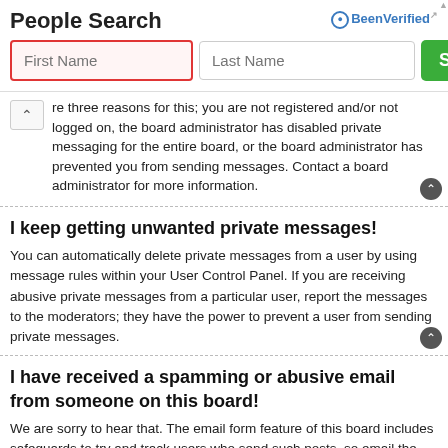[Figure (other): BeenVerified People Search advertisement banner with First Name input (red border), Last Name input, and green Search button]
re three reasons for this; you are not registered and/or not logged on, the board administrator has disabled private messaging for the entire board, or the board administrator has prevented you from sending messages. Contact a board administrator for more information.
I keep getting unwanted private messages!
You can automatically delete private messages from a user by using message rules within your User Control Panel. If you are receiving abusive private messages from a particular user, report the messages to the moderators; they have the power to prevent a user from sending private messages.
I have received a spamming or abusive email from someone on this board!
We are sorry to hear that. The email form feature of this board includes safeguards to try and track users who send such posts, so email the board administrator with a full copy of the email you received. It is very important that this includes the headers that contain the details of the user